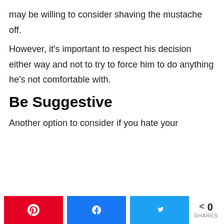may be willing to consider shaving the mustache off.
However, it's important to respect his decision either way and not to try to force him to do anything he's not comfortable with.
Be Suggestive
Another option to consider if you hate your
[Figure (other): Social share bar with Pinterest (red), Facebook (blue), Twitter (blue) buttons and share count of 0]